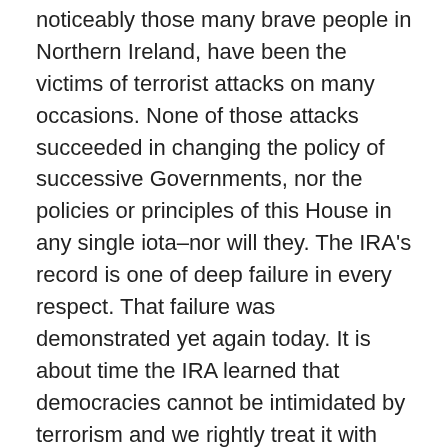noticeably those many brave people in Northern Ireland, have been the victims of terrorist attacks on many occasions. None of those attacks succeeded in changing the policy of successive Governments, nor the policies or principles of this House in any single iota–nor will they. The IRA's record is one of deep failure in every respect. That failure was demonstrated yet again today. It is about time the IRA learned that democracies cannot be intimidated by terrorism and we rightly treat it with contempt.
Sir Bernard Braine : Does my right hon. and learned Friend agree that in the present exceptionally cold weather, which is forecast to increase in intensity, some of our fellow citizens, especially the elderly and the infirm, may suffer grievously? Is it possible for my right hon. Friend to